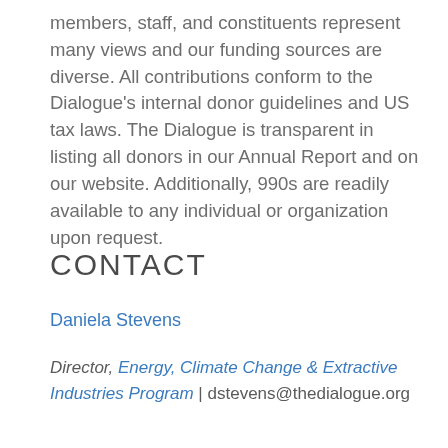members, staff, and constituents represent many views and our funding sources are diverse. All contributions conform to the Dialogue's internal donor guidelines and US tax laws. The Dialogue is transparent in listing all donors in our Annual Report and on our website. Additionally, 990s are readily available to any individual or organization upon request.
CONTACT
Daniela Stevens
Director, Energy, Climate Change & Extractive Industries Program | dstevens@thedialogue.org